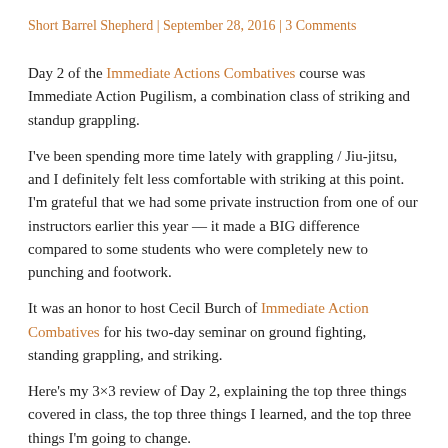Short Barrel Shepherd | September 28, 2016 | 3 Comments
Day 2 of the Immediate Actions Combatives course was Immediate Action Pugilism, a combination class of striking and standup grappling.
I've been spending more time lately with grappling / Jiu-jitsu, and I definitely felt less comfortable with striking at this point. I'm grateful that we had some private instruction from one of our instructors earlier this year — it made a BIG difference compared to some students who were completely new to punching and footwork.
It was an honor to host Cecil Burch of Immediate Action Combatives for his two-day seminar on ground fighting, standing grappling, and striking.
Here's my 3×3 review of Day 2, explaining the top three things covered in class, the top three things I learned, and the top three things I'm going to change.